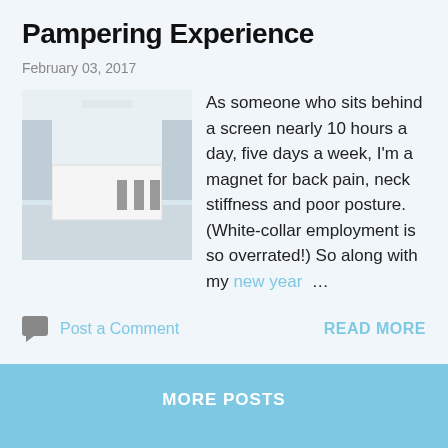Pampering Experience
February 03, 2017
[Figure (photo): Interior room photo showing a modern white kitchen or spa space with bar stools]
As someone who sits behind a screen nearly 10 hours a day, five days a week, I'm a magnet for back pain, neck stiffness and poor posture. (White-collar employment is so overrated!) So along with my new year ...
Post a Comment
READ MORE
MORE POSTS
Powered by Blogger